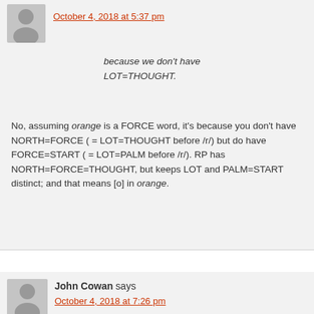October 4, 2018 at 5:37 pm
because we don't have LOT=THOUGHT.
No, assuming orange is a FORCE word, it's because you don't have NORTH=FORCE ( = LOT=THOUGHT before /r/) but do have FORCE=START ( = LOT=PALM before /r/). RP has NORTH=FORCE=THOUGHT, but keeps LOT and PALM=START distinct; and that means [o] in orange.
John Cowan says
October 4, 2018 at 7:26 pm
Nope, I have NORTH=FORCE like most Americans of my generation or later. START=NORTH (not FORCE) is